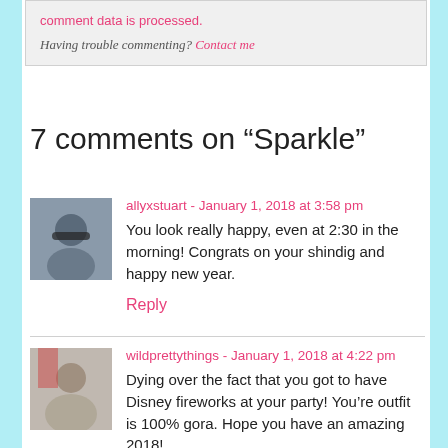comment data is processed. Having trouble commenting? Contact me
7 comments on “Sparkle”
allyxstuart - January 1, 2018 at 3:58 pm
You look really happy, even at 2:30 in the morning! Congrats on your shindig and happy new year.
Reply
wildprettythings - January 1, 2018 at 4:22 pm
Dying over the fact that you got to have Disney fireworks at your party! You’re outfit is 100% gora. Hope you have an amazing 2018!